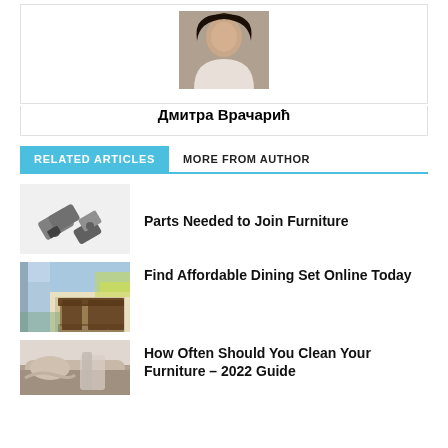[Figure (photo): Author portrait photo of a woman with long dark hair, wearing a white top]
Дмитра Врачарић
RELATED ARTICLES  MORE FROM AUTHOR
[Figure (photo): Metal furniture hinges/connectors on white background]
Parts Needed to Join Furniture
[Figure (photo): Dining set with chairs around a glass table, with bright window in background]
Find Affordable Dining Set Online Today
[Figure (photo): Person cleaning furniture, sofa visible]
How Often Should You Clean Your Furniture – 2022 Guide